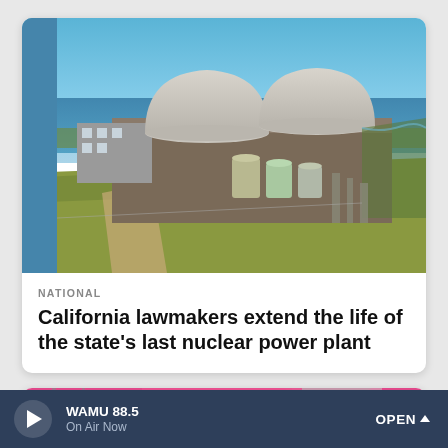[Figure (photo): Aerial view of a nuclear power plant with two large dome-shaped reactor buildings, industrial structures, and cylindrical storage tanks in the foreground, with grassy hillside, ocean and blue sky in the background. A blue structural element frames the left side of the image.]
NATIONAL
California lawmakers extend the life of the state's last nuclear power plant
[Figure (photo): Partial view of a second news card showing a pink colored subject, partially visible at the bottom of the screen.]
WAMU 88.5 On Air Now OPEN ^